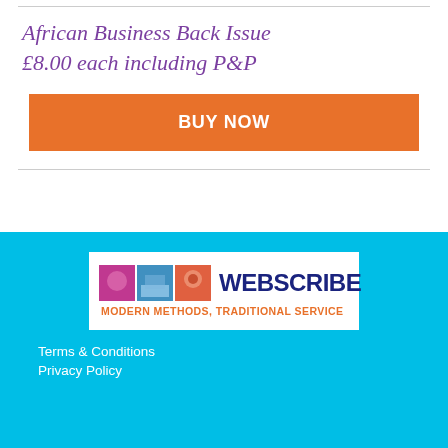African Business Back Issue
£8.00 each including P&P
BUY NOW
[Figure (logo): Webscribe logo: three colored image tiles followed by the word WEBSCRIBE in dark blue bold text, with tagline MODERN METHODS, TRADITIONAL SERVICE in orange below]
Terms & Conditions
Privacy Policy